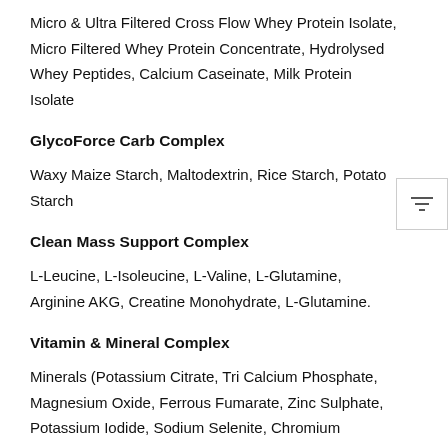Micro & Ultra Filtered Cross Flow Whey Protein Isolate, Micro Filtered Whey Protein Concentrate, Hydrolysed Whey Peptides, Calcium Caseinate, Milk Protein Isolate
GlycoForce Carb Complex
Waxy Maize Starch, Maltodextrin, Rice Starch, Potato Starch
Clean Mass Support Complex
L-Leucine, L-Isoleucine, L-Valine, L-Glutamine, Arginine AKG, Creatine Monohydrate, L-Glutamine.
Vitamin & Mineral Complex
Minerals (Potassium Citrate, Tri Calcium Phosphate, Magnesium Oxide, Ferrous Fumarate, Zinc Sulphate, Potassium Iodide, Sodium Selenite, Chromium Chloride). Vitamins (Vitamin C, Nicotinamide, Vitamin B6, Pantothenic Acid, Riboflavin, Thiamin, Vitamin A Acetate, Folic Acid, Vitamin D3, Biotin, Vitamin B12),